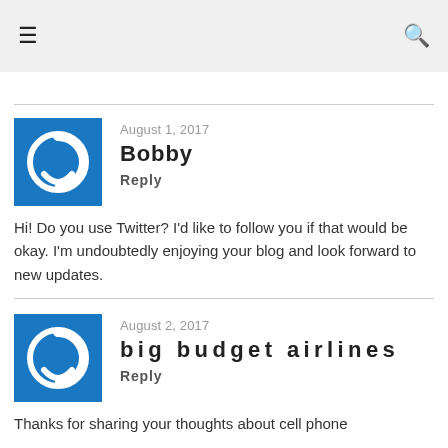≡  🔍
August 1, 2017
Bobby
Reply

Hi! Do you use Twitter? I'd like to follow you if that would be okay. I'm undoubtedly enjoying your blog and look forward to new updates.
August 2, 2017
big budget airlines
Reply

Thanks for sharing your thoughts about cell phone